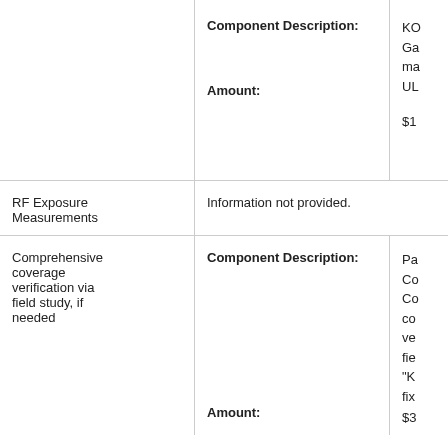|  |  |  |
| --- | --- | --- |
|  | Component Description: [KO... Ga... ma... UL...]  Amount: $1... |  |
| RF Exposure Measurements | Information not provided. |  |
| Comprehensive coverage verification via field study, if needed | Component Description: [Pa... Co... Co... co... ve... fie... "K... fix...]  Amount: $3... |  |